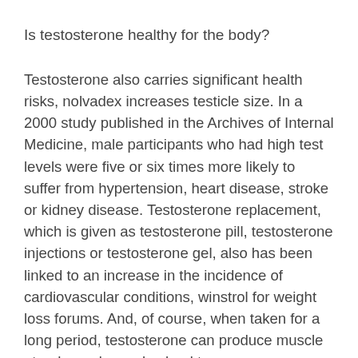Is testosterone healthy for the body?
Testosterone also carries significant health risks, nolvadex increases testicle size. In a 2000 study published in the Archives of Internal Medicine, male participants who had high test levels were five or six times more likely to suffer from hypertension, heart disease, stroke or kidney disease. Testosterone replacement, which is given as testosterone pill, testosterone injections or testosterone gel, also has been linked to an increase in the incidence of cardiovascular conditions, winstrol for weight loss forums. And, of course, when taken for a long period, testosterone can produce muscle atrophy and can also lead to acne.
But, as with many hormones, this one is best taken in moderation, how to lose weight after prescription steroids. Those over 40 are at